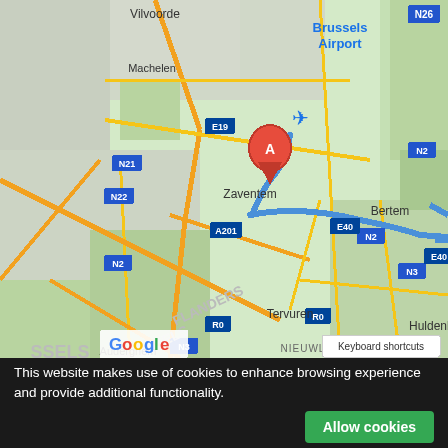[Figure (map): Google Maps screenshot showing Brussels Airport area (Belgium). A red location marker labeled 'A' is shown at Brussels Airport (Zaventem). A blue route line runs from the airport southeastward through E40 highway toward Bertem. Visible locations include Vilvoorde, Machelen, Zaventem, Brussels Airport, Kortenberg, Bertem, Flanders, Brussels region, Tervuren, Auderghem, Huldenberg, Ael-Boitsfort, Nieuwland, Overijse. Road labels include N26, N2, N21, N22, E19, A201, E40, N3, R0. Google logo visible bottom-left with 'Keyboard shortcuts' button.]
This website makes use of cookies to enhance browsing experience and provide additional functionality.